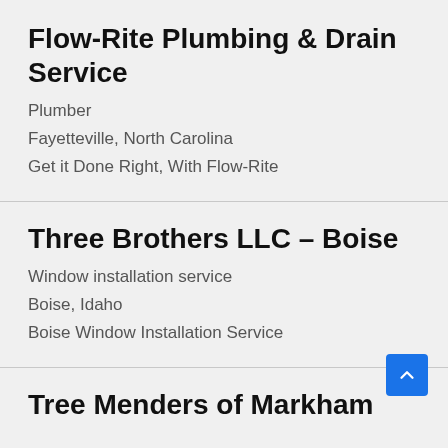Flow-Rite Plumbing & Drain Service
Plumber
Fayetteville, North Carolina
Get it Done Right, With Flow-Rite
Three Brothers LLC – Boise
Window installation service
Boise, Idaho
Boise Window Installation Service
Tree Menders of Markham